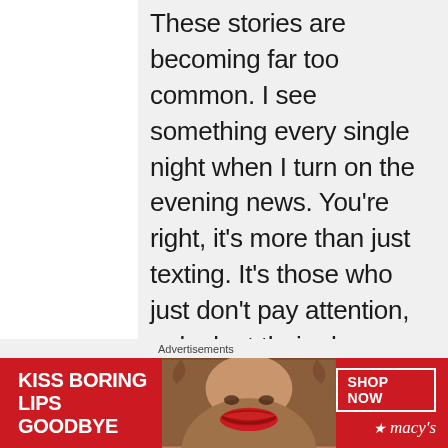These stories are becoming far too common. I see something every single night when I turn on the evening news. You're right, it's more than just texting. It's those who just don't pay attention, or look at their phone or even radio to change a station. I cannot imagine how frightening it was for
Advertisements
[Figure (other): Advertisement banner for Macy's lipstick promotion. Red background with white text reading 'KISS BORING LIPS GOODBYE', woman's face with red lips in center, 'SHOP NOW' button and Macy's star logo on right.]